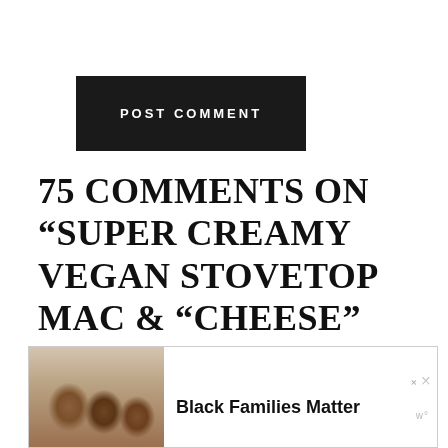[Figure (screenshot): Dark button with white text reading POST COMMENT]
75 COMMENTS ON “SUPER CREAMY VEGAN STOVETOP MAC & “CHEESE” (MADE WITH SWEET POTATOES & BUTTERNUT SQUASH!)”
[Figure (infographic): Advertisement banner showing Black Families Matter with a photo of Black family members smiling, with close buttons in upper right]